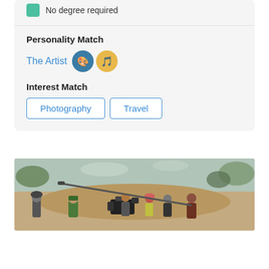No degree required
Personality Match
The Artist 🎨 🎵
Interest Match
Photography   Travel
[Figure (photo): Film crew on location outdoors, several people with camera equipment and a boom mic pole, sandy/grassy terrain]